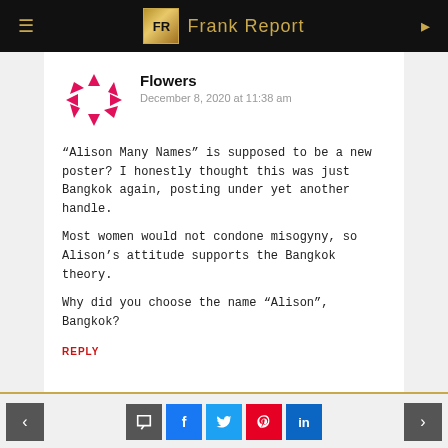Frank Report
Flowers
December 8, 2020 at 11:38 am
“Alison Many Names” is supposed to be a new poster? I honestly thought this was just Bangkok again, posting under yet another handle.

Most women would not condone misogyny, so Alison’s attitude supports the Bangkok theory.

Why did you choose the name “Alison”, Bangkok?
REPLY
< [comment] [f] [twitter] [pinterest] [in] >